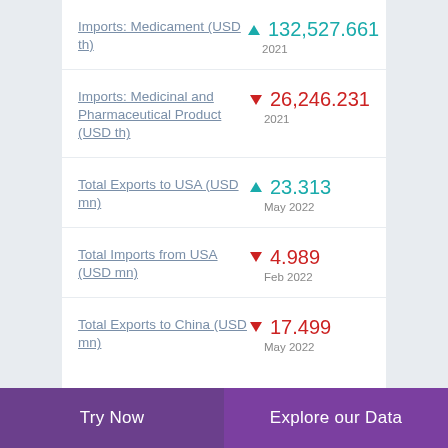Imports: Medicament (USD th) ▲ 132,527.661 2021
Imports: Medicinal and Pharmaceutical Product (USD th) ▼ 26,246.231 2021
Total Exports to USA (USD mn) ▲ 23.313 May 2022
Total Imports from USA (USD mn) ▼ 4.989 Feb 2022
Total Exports to China (USD mn) ▼ 17.499 May 2022
Try Now | Explore our Data